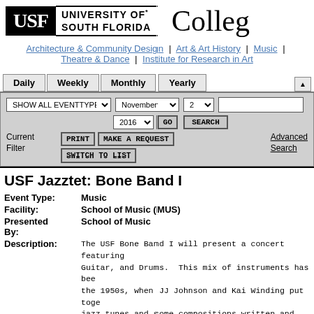[Figure (logo): USF University of South Florida College logo header]
Architecture & Community Design  |  Art & Art History  |  Music  |  Theatre & Dance  |  Institute for Research in Art
[Figure (screenshot): Navigation tabs (Daily, Weekly, Monthly, Yearly) with controls: SHOW ALL EVENTTYPES dropdown, November dropdown, 2 dropdown, GO button, 2016 dropdown, search input, SEARCH button, PRINT button, MAKE A REQUEST button, SWITCH TO LIST button, Advanced Search link]
USF Jazztet: Bone Band I
Event Type: Music
Facility: School of Music (MUS)
Presented By: School of Music
Description: The USF Bone Band I will present a concert featuring Guitar, and Drums.  This mix of instruments has been the 1950s, when JJ Johnson and Kai Winding put toge jazz tunes and some compositions written and arrang by groups like "World of Trombones" with Slide Ham